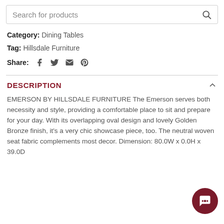Search for products
Category: Dining Tables
Tag: Hillsdale Furniture
Share:
DESCRIPTION
EMERSON BY HILLSDALE FURNITURE The Emerson serves both necessity and style, providing a comfortable place to sit and prepare for your day. With its overlapping oval design and lovely Golden Bronze finish, it's a very chic showcase piece, too. The neutral woven seat fabric complements most decor. Dimension: 80.0W x 0.0H x 39.0D